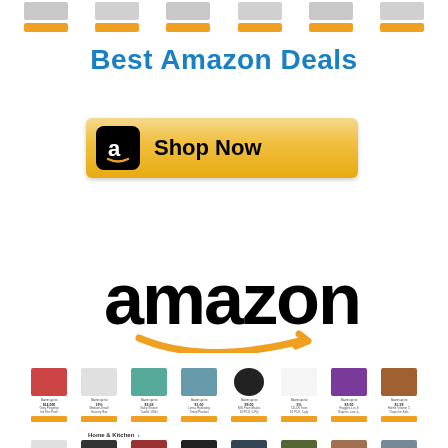[Figure (screenshot): Top strip showing product thumbnail images with orange 'Shop Now' buttons across the top of the page]
Best Amazon Deals
[Figure (infographic): Orange and black 'Shop Now' button with Amazon 'a' logo icon on left side, gold/yellow gradient background]
[Figure (logo): Amazon logo in black lowercase text with orange arrow swoosh beneath]
[Figure (screenshot): Row of Amazon product thumbnails with 'Save up to' text and orange add-to-cart buttons]
Home & Kitchen
[Figure (screenshot): Second row of Amazon product thumbnails for Home & Kitchen category]